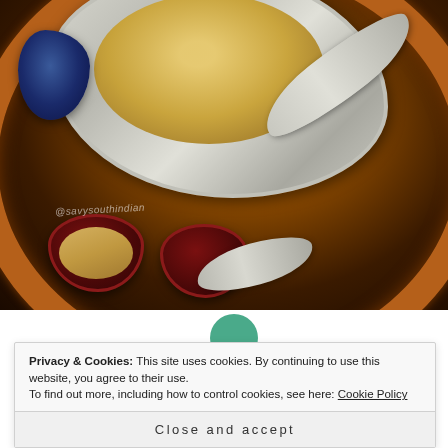[Figure (photo): Overhead view of a traditional Indian copper plate with a silver tray containing Pongal (rice dish), small red bowls with ingredients, silver spoons, and a Ganesha idol figurine. Watermark text reads @savysouthindian.]
Privacy & Cookies: This site uses cookies. By continuing to use this website, you agree to their use.
To find out more, including how to control cookies, see here: Cookie Policy
Close and accept
Sweet and Savory Pongal